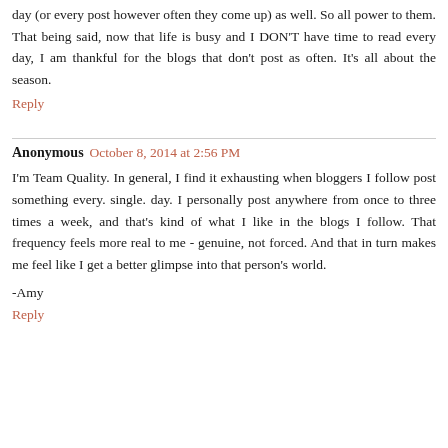day (or every post however often they come up) as well. So all power to them. That being said, now that life is busy and I DON'T have time to read every day, I am thankful for the blogs that don't post as often. It's all about the season.
Reply
Anonymous October 8, 2014 at 2:56 PM
I'm Team Quality. In general, I find it exhausting when bloggers I follow post something every. single. day. I personally post anywhere from once to three times a week, and that's kind of what I like in the blogs I follow. That frequency feels more real to me - genuine, not forced. And that in turn makes me feel like I get a better glimpse into that person's world.
-Amy
Reply